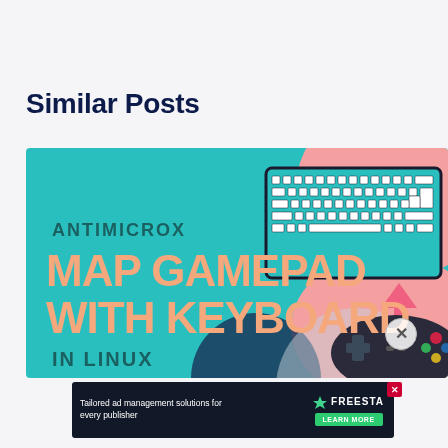Similar Posts
[Figure (illustration): Promotional thumbnail image for 'AntiMicroX Map Gamepad with Keyboard in Linux'. Teal/turquoise background with a pink curved shape on the right. Text reads 'ANTIMICROX' in small teal letters, then 'MAP GAMEPAD WITH KEYBOARD' in large peach/salmon bold letters, and 'IN LINUX' in smaller teal letters at the bottom left. On the right side: an illustrated keyboard graphic at the top right corner, a pink up-down arrow in the middle right, and a dark game controller at the bottom right. A dark navy/teal circle appears at the bottom center.]
[Figure (screenshot): Advertisement banner with dark background. Left side text: 'Tailored ad management solutions for every publisher' in white. Right side shows 'FREESTA' logo in white with a green 'LEARN MORE' button below. A small red X close button appears at top right of the ad.]